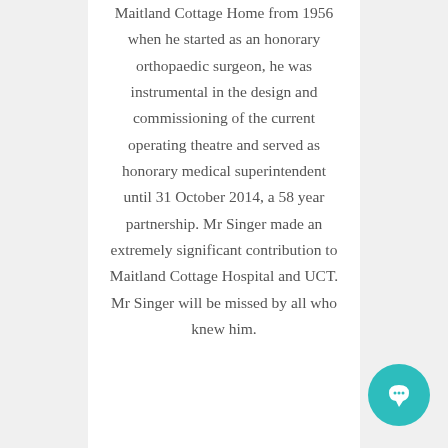Maitland Cottage Home from 1956 when he started as an honorary orthopaedic surgeon, he was instrumental in the design and commissioning of the current operating theatre and served as honorary medical superintendent until 31 October 2014, a 58 year partnership. Mr Singer made an extremely significant contribution to Maitland Cottage Hospital and UCT. Mr Singer will be missed by all who knew him.